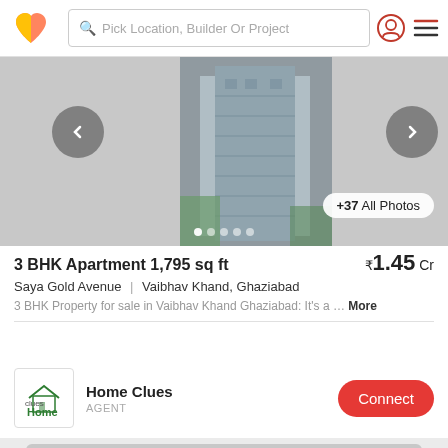Pick Location, Builder Or Project
[Figure (photo): Apartment building photo with navigation arrows and +37 All Photos button, with dot indicators]
3 BHK Apartment 1,795 sq ft
₹1.45 Cr
Saya Gold Avenue | Vaibhav Khand, Ghaziabad
3 BHK Property for sale in Vaibhav Khand Ghaziabad: It's a ... More
Home Clues
AGENT
[Figure (photo): Second property listing image placeholder with heart/favorite icons]